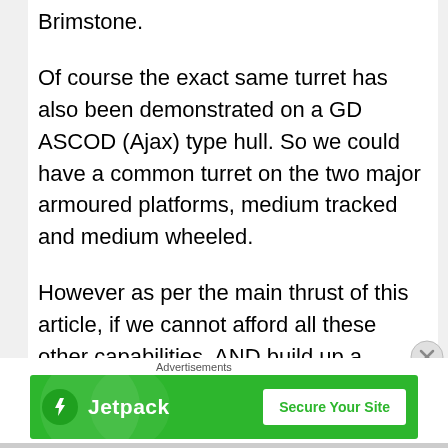Brimstone.
Of course the exact same turret has also been demonstrated on a GD ASCOD (Ajax) type hull. So we could have a common turret on the two major armoured platforms, medium tracked and medium wheeled.
However as per the main thrust of this article, if we cannot afford all these other capabilities, AND build up a significant, flexible artillery capability, then I go with the “fires” and that includes buying a large number of Boxers with
Advertisements
[Figure (infographic): Jetpack advertisement banner with green background. Shows Jetpack logo (lightning bolt icon) and text 'Jetpack' on the left, and a white button 'Secure Your Site' on the right.]